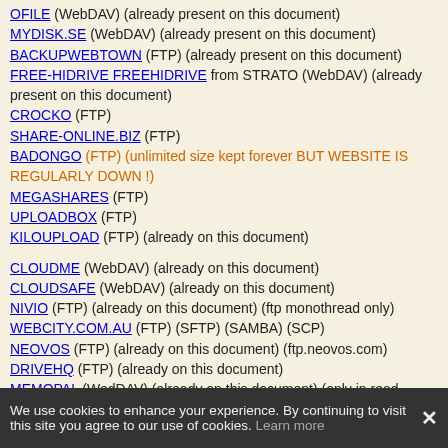OFILE (WebDAV) (already present on this document)
MYDISK.SE (WebDAV) (already present on this document)
BACKUPWEBTOWN (FTP) (already present on this document)
FREE-HIDRIVE FREEHIDRIVE from STRATO (WebDAV) (already present on this document)
CROCKO (FTP)
SHARE-ONLINE.BIZ (FTP)
BADONGO (FTP) (unlimited size kept forever BUT WEBSITE IS REGULARLY DOWN !)
MEGASHARES (FTP)
UPLOADBOX (FTP)
KILOUPLOAD (FTP) (already on this document)
CLOUDME (WebDAV) (already on this document)
CLOUDSAFE (WebDAV) (already on this document)
NIVIO (FTP) (already on this document) (ftp monothread only)
WEBCITY.COM.AU (FTP) (SFTP) (SAMBA) (SCP)
NEOVOS (FTP) (already on this document) (ftp.neovos.com)
DRIVEHQ (FTP) (already on this document)
MEMOPAL (WedDAV) (already on this document) (only in read mode?) (https://dav.memopal.com/)
1FICHIER (FTP) (⚠ NO HOTLINK)
BOX.NET (WebDAV http://www.box.net/dav) (already on this document)
PEWIZ (FTP + WebDAV + SMB?) (already on this document)
FOLIOCLOUD (WebDAV) (already on this document)
IDRIVESYNC (WebDAV) (already on this document)
YANDEX DRIVE (WebDAV) (already on this document)
We use cookies to enhance your experience. By continuing to visit this site you agree to our use of cookies. Learn more